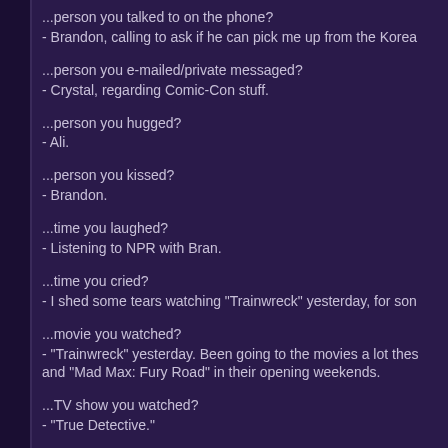...person you talked to on the phone?
- Brandon, calling to ask if he can pick me up from the Korea
...person you e-mailed/private messaged?
- Crystal, regarding Comic-Con stuff.
...person you hugged?
- Ali.
...person you kissed?
- Brandon.
...time you laughed?
- Listening to NPR with Bran.
...time you cried?
- I shed some tears watching "Trainwreck" yesterday, for son
...movie you watched?
- "Trainwreck" yesterday. Been going to the movies a lot thes and "Mad Max: Fury Road" in their opening weekends.
...TV show you watched?
- "True Detective."
...DVD you watched?
- "Never Been Kissed." It was part of a set of DVDs I picked and I just wanted to make sure it was appropriate. Fuck it, ju answer than a piece of shit '90s teen flick.